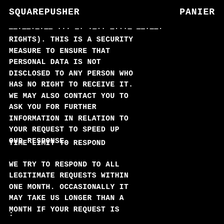SQUAREPUSHER    PANIER
——·——·—·—— ··· —· ·—·· —···— ——·——·
RIGHTS). THIS IS A SECURITY
MEASURE TO ENSURE THAT
PERSONAL DATA IS NOT
DISCLOSED TO ANY PERSON WHO
HAS NO RIGHT TO RECEIVE IT.
WE MAY ALSO CONTACT YOU TO
ASK YOU FOR FURTHER
INFORMATION IN RELATION TO
YOUR REQUEST TO SPEED UP
OUR RESPONSE.
TIME LIMIT TO RESPOND
WE TRY TO RESPOND TO ALL
LEGITIMATE REQUESTS WITHIN
ONE MONTH. OCCASIONALLY IT
MAY TAKE US LONGER THAN A
MONTH IF YOUR REQUEST IS
: